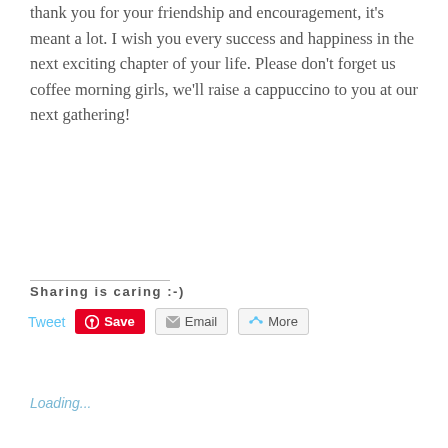thank you for your friendship and encouragement, it's meant a lot. I wish you every success and happiness in the next exciting chapter of your life. Please don't forget us coffee morning girls, we'll raise a cappuccino to you at our next gathering!
Sharing is caring :-)
Tweet
Save
Email
More
Loading...